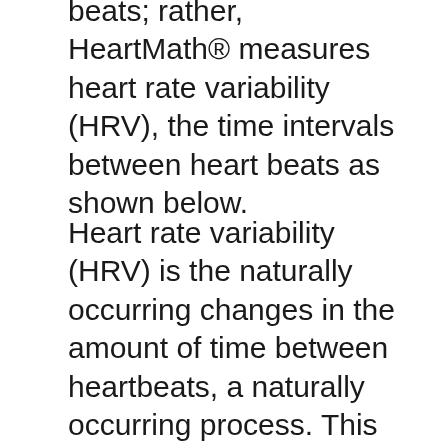beats; rather, HeartMath® measures heart rate variability (HRV), the time intervals between heart beats as shown below.
Heart rate variability (HRV) is the naturally occurring changes in the amount of time between heartbeats, a naturally occurring process. This differs from your average heart rate – the number of beats that occur in any given minute. You may think that if your average heart rate is 60 beats per minute, then the heart should beat once a second.
That would result in zero variation or an